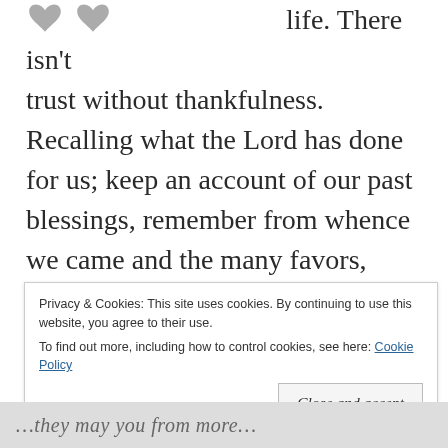[Figure (illustration): Two small gray heart icons at the top left of the page]
life. There isn't trust without thankfulness. Recalling what the Lord has done for us; keep an account of our past blessings, remember from whence we came and the many favors, we've been granted. When we remember the past, we will be thankful for the present.
Privacy & Cookies: This site uses cookies. By continuing to use this website, you agree to their use. To find out more, including how to control cookies, see here: Cookie Policy
Close and accept
…they may you from more…